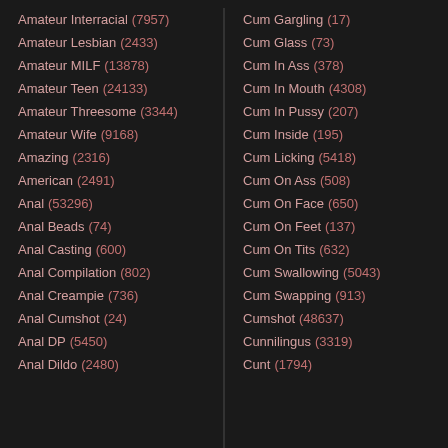Amateur Interracial (7957)
Amateur Lesbian (2433)
Amateur MILF (13878)
Amateur Teen (24133)
Amateur Threesome (3344)
Amateur Wife (9168)
Amazing (2316)
American (2491)
Anal (53296)
Anal Beads (74)
Anal Casting (600)
Anal Compilation (802)
Anal Creampie (736)
Anal Cumshot (24)
Anal DP (5450)
Anal Dildo (2480)
Cum Gargling (17)
Cum Glass (73)
Cum In Ass (378)
Cum In Mouth (4308)
Cum In Pussy (207)
Cum Inside (195)
Cum Licking (5418)
Cum On Ass (508)
Cum On Face (650)
Cum On Feet (137)
Cum On Tits (632)
Cum Swallowing (5043)
Cum Swapping (913)
Cumshot (48637)
Cunnilingus (3319)
Cunt (1794)